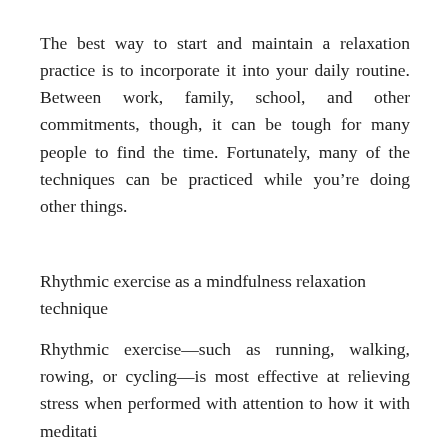The best way to start and maintain a relaxation practice is to incorporate it into your daily routine. Between work, family, school, and other commitments, though, it can be tough for many people to find the time. Fortunately, many of the techniques can be practiced while you’re doing other things.
Rhythmic exercise as a mindfulness relaxation technique
Rhythmic exercise—such as running, walking, rowing, or cycling—is most effective at relieving stress when performed with attention to how it with meditation